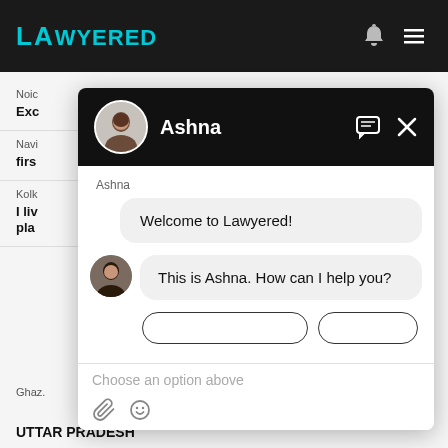[Figure (screenshot): Screenshot of Lawyered website with a chat popup window open. The chat widget shows an agent named Ashna with welcome messages and a text input area. Background shows partial law firm listings.]
Noic
Exc
Navi
firs
Kolk
I liv
pla
Ghaz.
UTTAR PRADESH
Ashna
Welcome to Lawyered!
This is Ashna. How can I help you?
Choose an option above